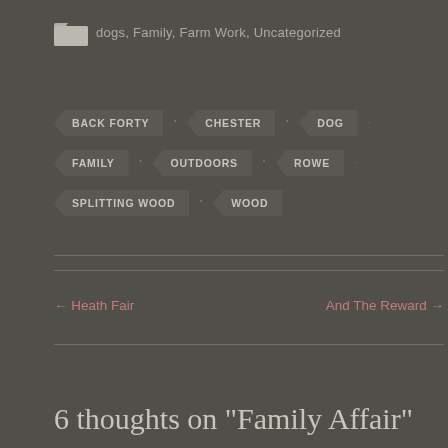dogs, Family, Farm Work, Uncategorized
BACK FORTY
CHESTER
DOG
FAMILY
OUTDOORS
ROWE
SPLITTING WOOD
WOOD
← Heath Fair
And The Reward →
6 thoughts on “Family Affair”